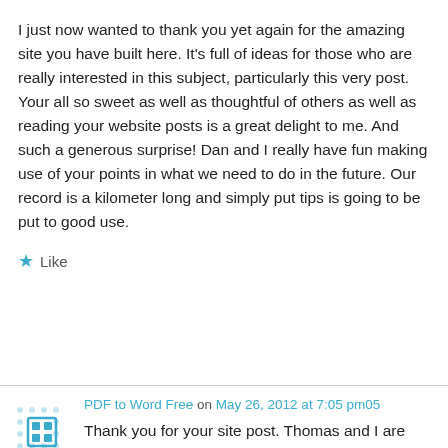I just now wanted to thank you yet again for the amazing site you have built here. It's full of ideas for those who are really interested in this subject, particularly this very post. Your all so sweet as well as thoughtful of others as well as reading your website posts is a great delight to me. And such a generous surprise! Dan and I really have fun making use of your points in what we need to do in the future. Our record is a kilometer long and simply put tips is going to be put to good use.
★ Like
PDF to Word Free on May 26, 2012 at 7:05 pm05
Thank you for your site post. Thomas and I are